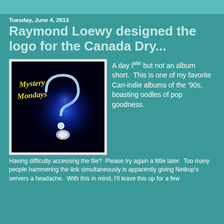Tuesday, June 4, 2013
Raymond Loewy designed the logo for the Canada Dry...
[Figure (illustration): Mystery Mondays image: black background with a glowing blue neon question mark and the text 'Mystery Mondays' in yellow stylized font on the left side]
A day late but not an album short.  This is one of my favorite Can-indie albums of the '90s, boasting oodles of pop goodness.
Having difficulty accessing the file?  Please try again a little later.  Too many people hammering the link simultaneously is apparently giving Netkup's servers a headache.  With this in mind, I'll leave this up for a few